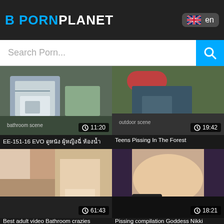B PORNPLANET
Search Porn...
[Figure (screenshot): Video thumbnail with duration 11:20]
EE-151-16 EVO ดูหนัง ผู้หญิงฉี่ ห้องน้ำ
[Figure (screenshot): Video thumbnail with duration 19:42]
Teens Pissing In The Forest
[Figure (screenshot): Video thumbnail with duration 61:43]
Best adult video Bathroom crazies
[Figure (screenshot): Video thumbnail with duration 18:21]
Pissing compilation Goddess Nikki
[Figure (screenshot): Video thumbnail partially visible bottom left]
[Figure (screenshot): Video thumbnail partially visible bottom right]